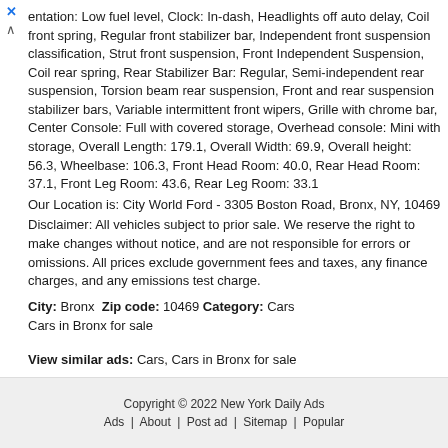entation: Low fuel level, Clock: In-dash, Headlights off auto delay, Coil front spring, Regular front stabilizer bar, Independent front suspension classification, Strut front suspension, Front Independent Suspension, Coil rear spring, Rear Stabilizer Bar: Regular, Semi-independent rear suspension, Torsion beam rear suspension, Front and rear suspension stabilizer bars, Variable intermittent front wipers, Grille with chrome bar, Center Console: Full with covered storage, Overhead console: Mini with storage, Overall Length: 179.1, Overall Width: 69.9, Overall height: 56.3, Wheelbase: 106.3, Front Head Room: 40.0, Rear Head Room: 37.1, Front Leg Room: 43.6, Rear Leg Room: 33.1
Our Location is: City World Ford - 3305 Boston Road, Bronx, NY, 10469
Disclaimer: All vehicles subject to prior sale. We reserve the right to make changes without notice, and are not responsible for errors or omissions. All prices exclude government fees and taxes, any finance charges, and any emissions test charge.
City: Bronx  Zip code: 10469  Category: Cars
Cars in Bronx for sale
View similar ads: Cars, Cars in Bronx for sale
Copyright © 2022 New York Daily Ads | Ads | About | Post ad | Sitemap | Popular